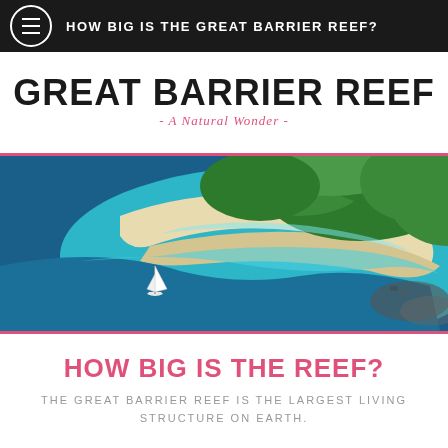HOW BIG IS THE GREAT BARRIER REEF?
[Figure (logo): Great Barrier Reef - A Natural Wonder logo with large bold uppercase text and italic pink subtitle]
[Figure (photo): Aerial photograph of a tropical island with turquoise water, white sand beach, green forest canopy, and a small sailboat in the lower left]
HOW BIG IS THE REEF?
THE GREAT BARRIER REEF IS THE LARGEST LIVING STRUCTURE ON EARTH.